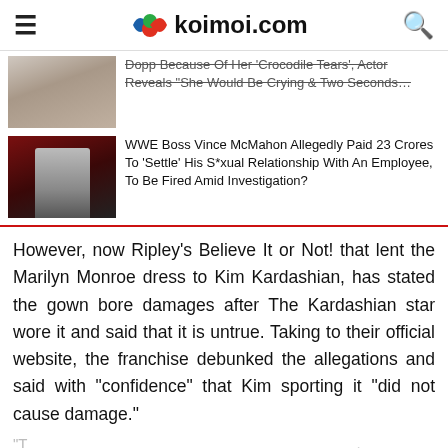koimoi.com
Dopp Because Of Her 'Crocodile Tears', Actor Reveals "She Would Be Crying & Two Seconds...
WWE Boss Vince McMahon Allegedly Paid 23 Crores To 'Settle' His S*xual Relationship With An Employee, To Be Fired Amid Investigation?
However, now Ripley's Believe It or Not! that lent the Marilyn Monroe dress to Kim Kardashian, has stated the gown bore damages after The Kardashian star wore it and said that it is untrue. Taking to their official website, the franchise debunked the allegations and said with “confidence” that Kim sporting it “did not cause damage.”
ADVERTISEMENT